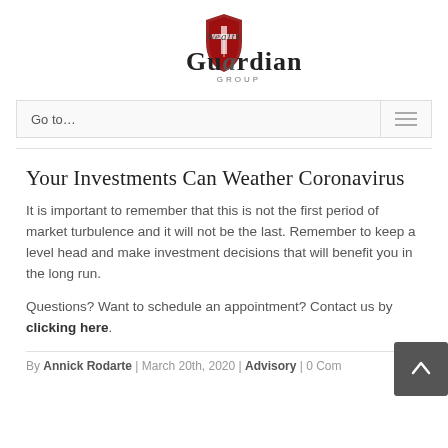Guardian Group
Your Investments Can Weather Coronavirus
It is important to remember that this is not the first period of market turbulence and it will not be the last. Remember to keep a level head and make investment decisions that will benefit you in the long run.
Questions? Want to schedule an appointment? Contact us by clicking here.
By Annick Rodarte | March 20th, 2020 | Advisory | 0 Comments